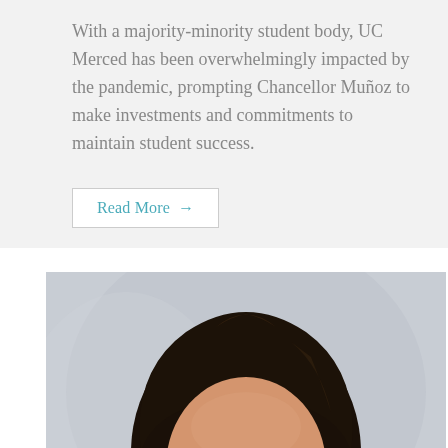With a majority-minority student body, UC Merced has been overwhelmingly impacted by the pandemic, prompting Chancellor Muñoz to make investments and commitments to maintain student success.
Read More →
[Figure (photo): Portrait photograph of a woman with dark hair, facing the camera, light grey background. Cropped to show head and upper shoulders.]